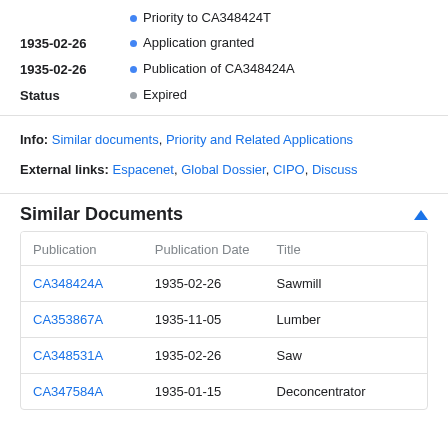Priority to CA348424T
1935-02-26 • Application granted
1935-02-26 • Publication of CA348424A
Status • Expired
Info: Similar documents, Priority and Related Applications
External links: Espacenet, Global Dossier, CIPO, Discuss
Similar Documents
| Publication | Publication Date | Title |
| --- | --- | --- |
| CA348424A | 1935-02-26 | Sawmill |
| CA353867A | 1935-11-05 | Lumber |
| CA348531A | 1935-02-26 | Saw |
| CA347584A | 1935-01-15 | Deconcentrator |